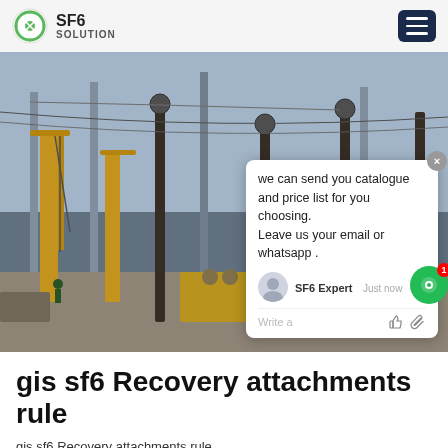SF6 SOLUTION
[Figure (photo): Industrial electrical substation construction site with large cranes, high-voltage equipment towers, and a yellow truck. Chat popup overlay visible with message about catalogue and price list. SF6China watermark in lower right.]
gis sf6 Recovery attachments rule
gis sf6 Recovery attachments rule